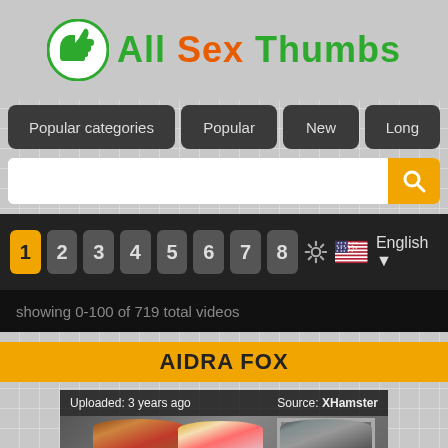All Sex Thumbs
Popular categories | Popular | New | Long
showing 0-100 of 719 total videos
AIDRA FOX
Uploaded: 3 years ago   Source: XHamster
[Figure (screenshot): Video thumbnail showing three women in a room with a mirror]